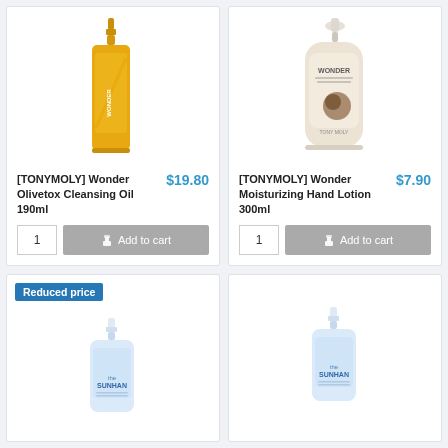[Figure (photo): TONYMOLY Wonder Olivetox Cleansing Oil 190ml - yellow/gold pump bottle]
[TONYMOLY] Wonder Olivetox Cleansing Oil 190ml
$19.80
1
Add to cart
[Figure (photo): TONYMOLY Wonder Moisturizing Hand Lotion 300ml - beige pump bottle with coconut]
[TONYMOLY] Wonder Moisturizing Hand Lotion 300ml
$7.90
1
Add to cart
Reduced price
[Figure (photo): The SUNHAN product - blue/white pump bottle]
[Figure (photo): The SUNHAN product - blue/white pump bottle]